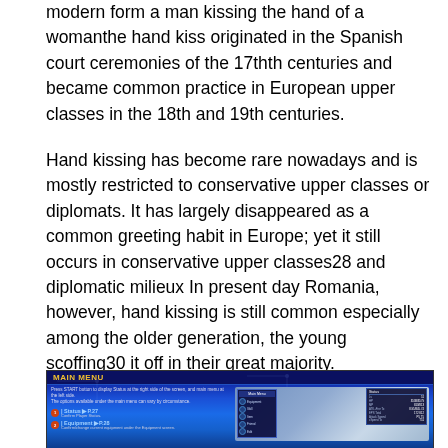modern form a man kissing the hand of a womanthe hand kiss originated in the Spanish court ceremonies of the 17thth centuries and became common practice in European upper classes in the 18th and 19th centuries.
Hand kissing has become rare nowadays and is mostly restricted to conservative upper classes or diplomats. It has largely disappeared as a common greeting habit in Europe; yet it still occurs in conservative upper classes28 and diplomatic milieux In present day Romania, however, hand kissing is still common especially among the older generation, the young scoffing30 it off in their great majority.
[Figure (screenshot): A video game main menu screenshot with a dark blue interface showing 'MAIN MENU' header, menu options including Status (P.27) and Equipment (P.28), a submenu overlay, and a status panel on the right side over an architectural background.]